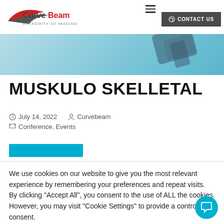[Figure (logo): CurveBeam Extremity 3D Imaging logo with red swoosh graphic]
[Figure (screenshot): CONTACT US button with headphone icon on dark background, and hamburger menu icon]
[Figure (photo): Partial view of a medical imaging device on a blue/teal gradient background hero banner strip]
MUSKULO SKELLETAL
July 14, 2022  Curvebeam
Conference, Events
[Figure (other): Blue rectangular button (partially visible/obscured)]
We use cookies on our website to give you the most relevant experience by remembering your preferences and repeat visits. By clicking "Accept All", you consent to the use of ALL the cookies. However, you may visit "Cookie Settings" to provide a controlled consent.
Cookie Settings   Accept All